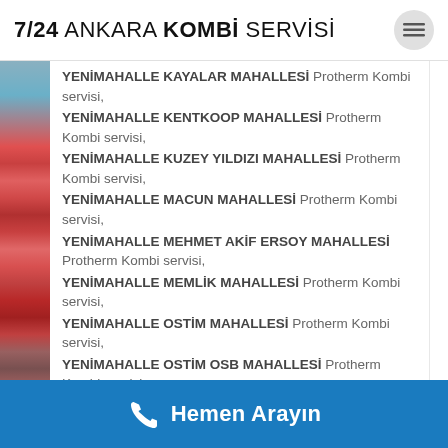7/24 ANKARA KOMBİ SERVİSİ
YENİMAHALLE KAYALAR MAHALLESİ Protherm Kombi servisi,
YENİMAHALLE KENTKOOP MAHALLESİ Protherm Kombi servisi,
YENİMAHALLE KUZEY YILDIZI MAHALLESİ Protherm Kombi servisi,
YENİMAHALLE MACUN MAHALLESİ Protherm Kombi servisi,
YENİMAHALLE MEHMET AKİF ERSOY MAHALLESİ Protherm Kombi servisi,
YENİMAHALLE MEMLİK MAHALLESİ Protherm Kombi servisi,
YENİMAHALLE OSTİM MAHALLESİ Protherm Kombi servisi,
YENİMAHALLE OSTİM OSB MAHALLESİ Protherm Kombi servisi,
Hemen Arayın